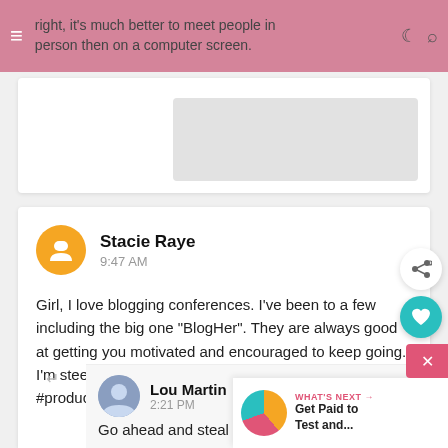right, it's much better to meet people in person then on a computer screen.
Stacie Raye
9:47 AM
Girl, I love blogging conferences. I've been to a few including the big one "BlogHer". They are always good at getting you motivated and encouraged to keep going. I'm steeling your notes by the way! ;) #productreviewparty
Reply
Lou Martin
2:21 PM
Go ahead and steal them Stacie!